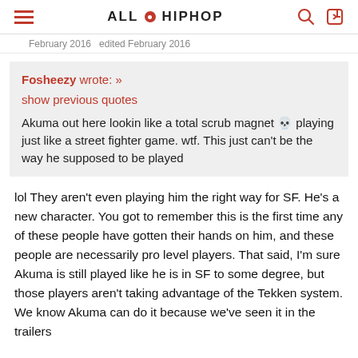ALL HIP HOP
February 2016  edited February 2016
Fosheezy wrote: »
show previous quotes
Akuma out here lookin like a total scrub magnet 💀 playing just like a street fighter game. wtf. This just can't be the way he supposed to be played
lol They aren't even playing him the right way for SF. He's a new character. You got to remember this is the first time any of these people have gotten their hands on him, and these people are necessarily pro level players. That said, I'm sure Akuma is still played like he is in SF to some degree, but those players aren't taking advantage of the Tekken system. We know Akuma can do it because we've seen it in the trailers